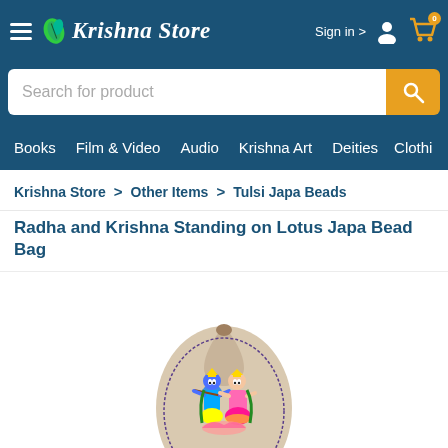Krishna Store — Sign in
Search for product
Books  Film & Video  Audio  Krishna Art  Deities  Clothi
Krishna Store > Other Items > Tulsi Japa Beads
Radha and Krishna Standing on Lotus Japa Bead Bag
[Figure (photo): A fabric japa bead bag shaped like a teardrop/lotus seed pod, made of beige/tan cloth, with a colorful hand-painted or embroidered image of Radha and Krishna standing together. Krishna plays the flute, wearing blue attire and a crown; Radha stands beside him in a pink and yellow sari. Both figures are depicted in traditional Indian folk art style against the natural cloth background.]